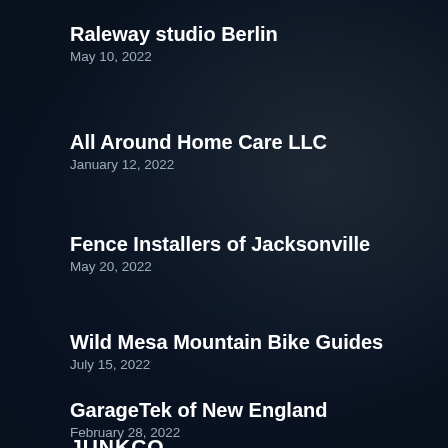Raleway studio Berlin
May 10, 2022
All Around Home Care LLC
January 12, 2022
Fence Installers of Jacksonville
May 20, 2022
Wild Mesa Mountain Bike Guides
July 15, 2022
GarageTek of New England
February 28, 2022
JUNKCO